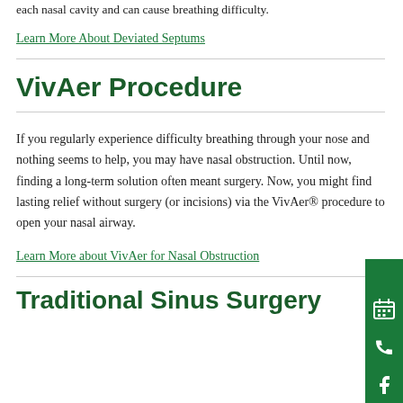each nasal cavity and can cause breathing difficulty.
Learn More About Deviated Septums
VivAer Procedure
If you regularly experience difficulty breathing through your nose and nothing seems to help, you may have nasal obstruction. Until now, finding a long-term solution often meant surgery. Now, you might find lasting relief without surgery (or incisions) via the VivAer® procedure to open your nasal airway.
Learn More about VivAer for Nasal Obstruction
Traditional Sinus Surgery